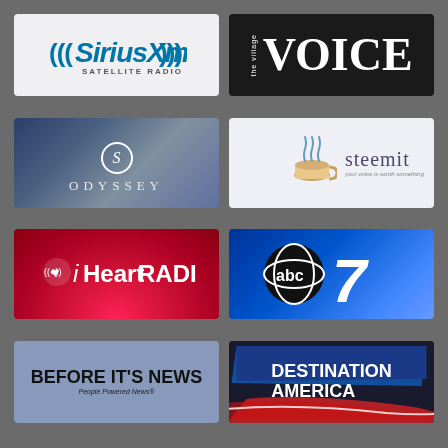[Figure (logo): SiriusXM Satellite Radio logo - blue text on white background]
[Figure (logo): The Village Voice logo - large white VOICE text on black background]
[Figure (logo): Odyssey logo - S emblem with ODYSSEY text on dark cityscape background]
[Figure (logo): Steemit logo - coffee cup with steemit text and tagline your voice is worth something]
[Figure (logo): iHeartRadio logo - white text on red gradient background]
[Figure (logo): ABC 7 logo - abc globe and number 7 on blue gradient background]
[Figure (logo): Before It's News logo - bold text on blue-grey background, tagline People Powered News]
[Figure (logo): Destination America logo - white bold text on dark background with American flag brush strokes]